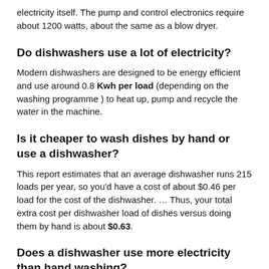electricity itself. The pump and control electronics require about 1200 watts, about the same as a blow dryer.
Do dishwashers use a lot of electricity?
Modern dishwashers are designed to be energy efficient and use around 0.8 Kwh per load (depending on the washing programme ) to heat up, pump and recycle the water in the machine.
Is it cheaper to wash dishes by hand or use a dishwasher?
This report estimates that an average dishwasher runs 215 loads per year, so you'd have a cost of about $0.46 per load for the cost of the dishwasher. … Thus, your total extra cost per dishwasher load of dishes versus doing them by hand is about $0.63.
Does a dishwasher use more electricity than hand washing?